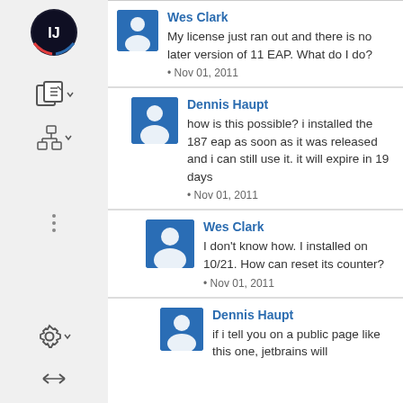[Figure (screenshot): IDE sidebar with icons: IntelliJ IDEA logo, copy/export icon, tree/hierarchy icon, gear/settings icon, expand arrows icon]
Wes Clark
My license just ran out and there is no later version of 11 EAP.  What do I do?
• Nov 01, 2011
Dennis Haupt
how is this possible? i installed the 187 eap as soon as it was released and i can still use it. it will expire in 19 days
• Nov 01, 2011
Wes Clark
I don't know how.  I installed on 10/21.  How can reset its counter?
• Nov 01, 2011
Dennis Haupt
if i tell you on a public page like this one, jetbrains will